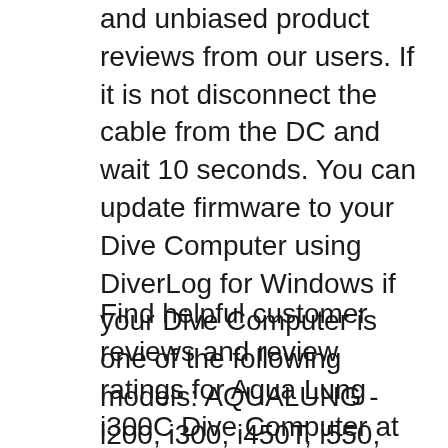and unbiased product reviews from our users. If it is not disconnect the cable from the DC and wait 10 seconds. You can update firmware to your Dive Computer using DiverLog for Windows if your Dive Computer is one of the following models: AQUALUNG - i200, i300, i450T, i550, i750TC, AQUALUNG - i300C, i550C, i750TC, i770R. OCEANIC - PROPLUS X.
Find helpful customer reviews and review ratings for Aqua Lung i300C Dive Computer at Amazon.com. Read honest and unbiased product reviews from our users. Aqua Lung, the Aqua Lung logo, i200C, the i200C logo, Diver Replaceable Batteries, Graphic Diver